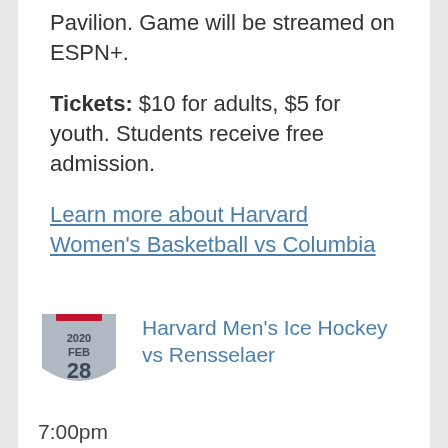Pavilion. Game will be streamed on ESPN+.
Tickets: $10 for adults, $5 for youth. Students receive free admission.
Learn more about Harvard Women's Basketball vs Columbia
[Figure (illustration): Shield/badge calendar icon showing 2020 FEB 28]
Harvard Men's Ice Hockey vs Rensselaer
7:00pm
Location: Bright-Landry Hockey